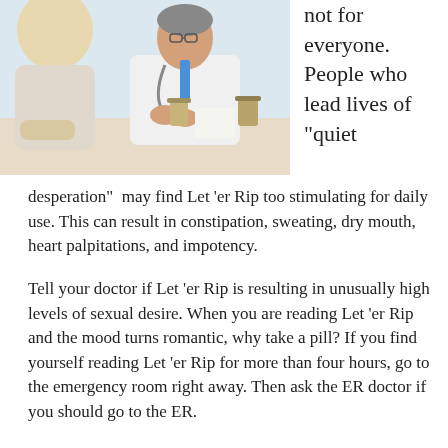[Figure (photo): A doctor in a white coat with stethoscope sits across from a patient, gesturing with hands clasped, medication bottles on the desk between them.]
not for everyone. People who lead lives of “quiet desperation”  may find Let ‘er Rip too stimulating for daily use. This can result in constipation, sweating, dry mouth, heart palpitations, and impotency.
Tell your doctor if Let ‘er Rip is resulting in unusually high levels of sexual desire. When you are reading Let ‘er Rip and the mood turns romantic, why take a pill? If you find yourself reading Let ‘er Rip for more than four hours, go to the emergency room right away. Then ask the ER doctor if you should go to the ER.